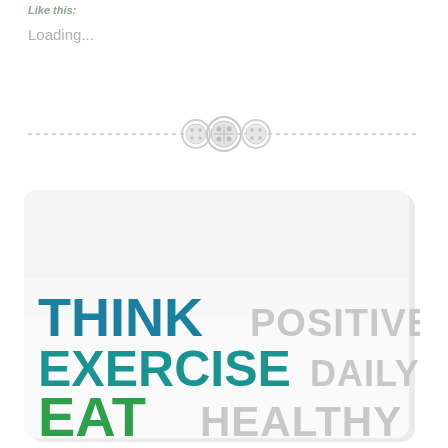Like this:
Loading...
[Figure (illustration): A dashed horizontal line with three button icons centered on it — two smaller circular buttons flanking a larger circular button with crosshatch/stitching pattern.]
[Figure (infographic): A white card with rounded corners showing motivational health text: THINK POSITIVELY / EXERCISE DAILY / EAT HEALTHY in large bold teal/green and light gray uppercase letters.]